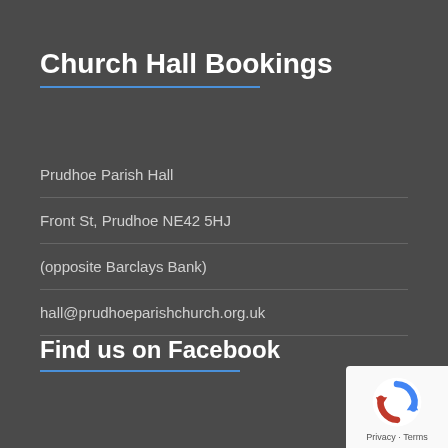Church Hall Bookings
Prudhoe Parish Hall
Front St, Prudhoe NE42 5HJ
(opposite Barclays Bank)
hall@prudhoeparishchurch.org.uk
Find us on Facebook
[Figure (logo): Google reCAPTCHA logo badge with Privacy and Terms links]